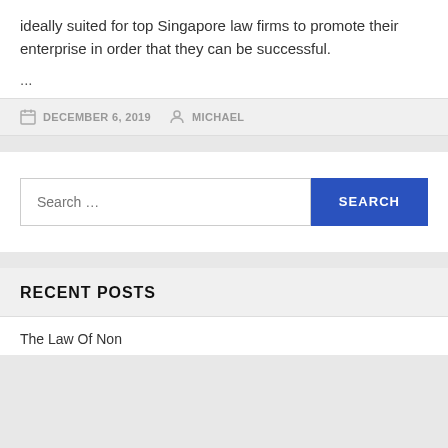ideally suited for top Singapore law firms to promote their enterprise in order that they can be successful.
...
DECEMBER 6, 2019   MICHAEL
[Figure (screenshot): Search bar with text 'Search ...' and a blue SEARCH button]
RECENT POSTS
The Law Of Non